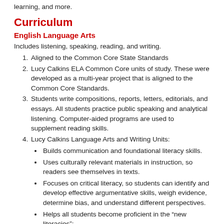research reports, presentations, speeches, experiments, service learning, and more.
Curriculum
English Language Arts
Includes listening, speaking, reading, and writing.
Aligned to the Common Core State Standards
Lucy Calkins ELA Common Core units of study. These were developed as a multi-year project that is aligned to the Common Core Standards.
Students write compositions, reports, letters, editorials, and essays. All students practice public speaking and analytical listening. Computer-aided programs are used to supplement reading skills.
Lucy Calkins Language Arts and Writing Units:
Builds communication and foundational literacy skills.
Uses culturally relevant materials in instruction, so readers see themselves in texts.
Focuses on critical literacy, so students can identify and develop effective argumentative skills, weigh evidence, determine bias, and understand different perspectives.
Helps all students become proficient in the “new literacies”: